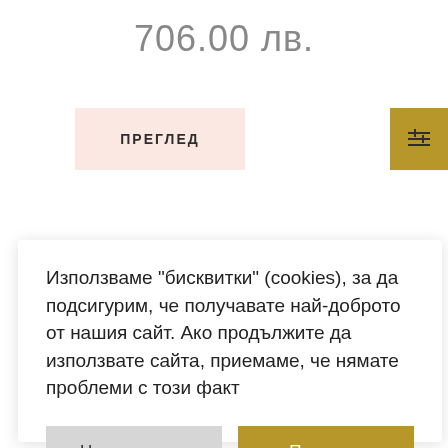706.00 лв.
ПРЕГЛЕД
Използваме "бисквитки" (cookies), за да подсигурим, че получавате най-доброто от нашия сайт. Ако продължите да използвате сайта, приемаме, че нямате проблеми с този факт
Научи повече
Приемам